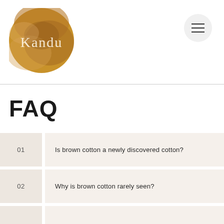[Figure (logo): Kandu brand logo: circular shape with a warm brown textured background and 'Kandu' text in light serif font]
FAQ
01   Is brown cotton a newly discovered cotton?
02   Why is brown cotton rarely seen?